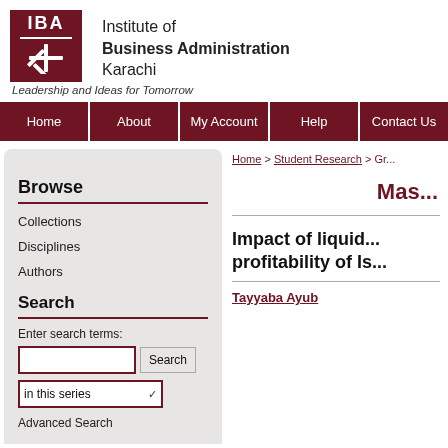[Figure (logo): IBA Institute of Business Administration Karachi logo with dark red box, IBA text and snowflake/star symbol]
Institute of Business Administration Karachi
Leadership and Ideas for Tomorrow
Home | About | My Account | Help | Contact Us
Browse
Collections
Disciplines
Authors
Search
Enter search terms:
in this series
Advanced Search
Home > Student Research > Gr...
Mas...
Impact of liquid... profitability of Is...
Tayyaba Ayub